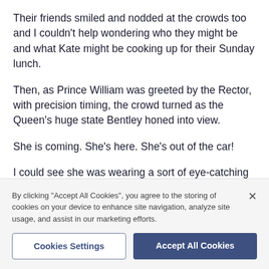Their friends smiled and nodded at the crowds too and I couldn't help wondering who they might be and what Kate might be cooking up for their Sunday lunch.
Then, as Prince William was greeted by the Rector, with precision timing, the crowd turned as the Queen's huge state Bentley honed into view.
She is coming. She's here. She's out of the car!
I could see she was wearing a sort of eye-catching beigey tan coloured suit, I imagined with a half decent brooch as well, with what looked like fur cuffs. There
By clicking "Accept All Cookies", you agree to the storing of cookies on your device to enhance site navigation, analyze site usage, and assist in our marketing efforts.
Cookies Settings
Accept All Cookies